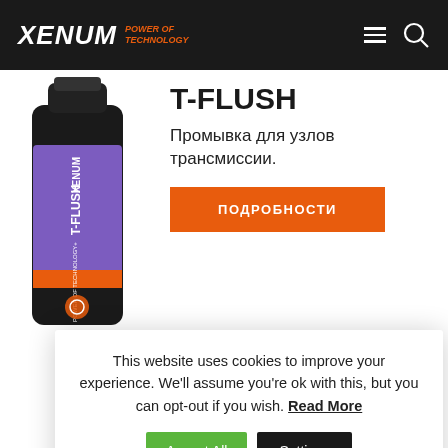XENUM POWER OF TECHNOLOGY
[Figure (photo): T-FLUSH product bottle with black cap and purple label, Xenum branding]
T-FLUSH
Промывка для узлов трансмиссии.
ПОДРОБНОСТИ
This website uses cookies to improve your experience. We'll assume you're ok with this, but you can opt-out if you wish. Read More
Accept All
Settings
[Figure (photo): XENUM ATFX 375 product box]
для автоматических